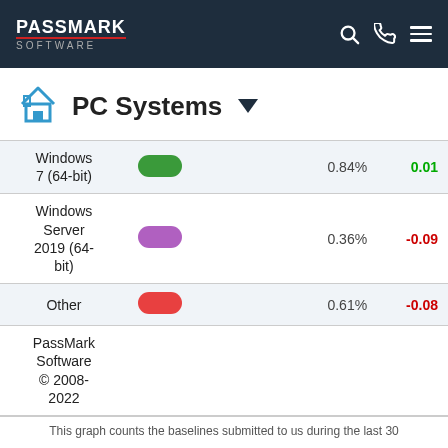PassMark Software
PC Systems
| Name | Bar | Percentage | Change |
| --- | --- | --- | --- |
| Windows 7 (64-bit) | (green pill) | 0.84% | 0.01 |
| Windows Server 2019 (64-bit) | (purple pill) | 0.36% | -0.09 |
| Other | (red pill) | 0.61% | -0.08 |
| PassMark Software © 2008-2022 |  |  |  |
This graph counts the baselines submitted to us during the last 30